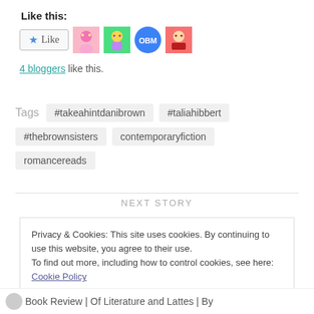Like this:
[Figure (other): Like button with star icon and four blogger avatar thumbnails]
4 bloggers like this.
Tags  #takeahintdanibrown  #taliahibbert  #thebrownsisters  contemporaryfiction  romancereads
NEXT STORY
Privacy & Cookies: This site uses cookies. By continuing to use this website, you agree to their use.
To find out more, including how to control cookies, see here: Cookie Policy
Close and accept
Book Review | Of Literature and Lattes | By